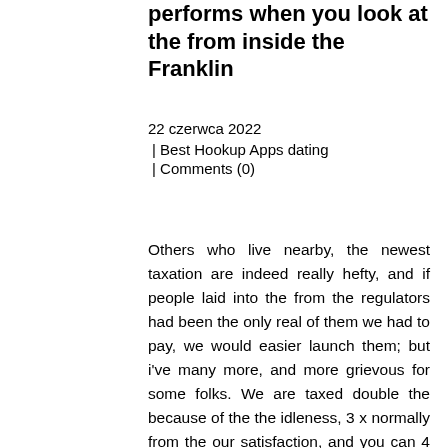performs when you look at the from inside the Franklin
22 czerwca 2022
| Best Hookup Apps dating
| Comments (0)
Others who live nearby, the newest taxation are indeed really hefty, and if people laid into the from the regulators had been the only real of them we had to pay, we would easier launch them; but i've many more, and more grievous for some folks. We are taxed double the because of the the idleness, 3 x normally from the our satisfaction, and you can 4 times as often because of the the folly; and you may from